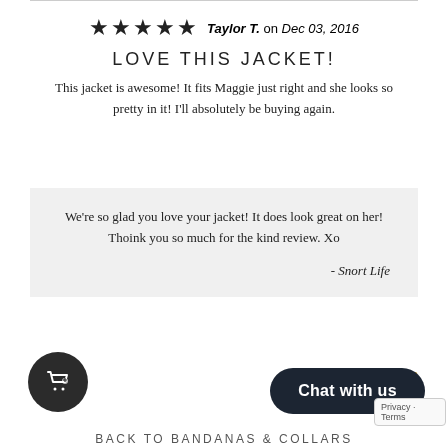[Figure (other): Five black star rating icons followed by reviewer name and date: Taylor T. on Dec 03, 2016]
LOVE THIS JACKET!
This jacket is awesome! It fits Maggie just right and she looks so pretty in it! I'll absolutely be buying again.
We're so glad you love your jacket! It does look great on her! Thoink you so much for the kind review. Xo
- Snort Life
Report as Inappropriate
Chat with us
BACK TO BANDANAS & COLLARS